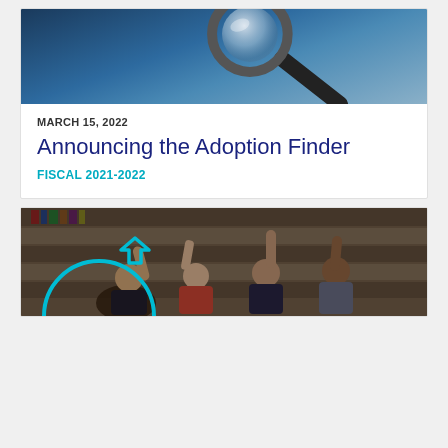[Figure (photo): Close-up of a hand holding a magnifying glass against a dark blue background]
MARCH 15, 2022
Announcing the Adoption Finder
FISCAL 2021-2022
[Figure (photo): Group of diverse people in a library raising hands and high-fiving, with a teal circular arrow overlay]